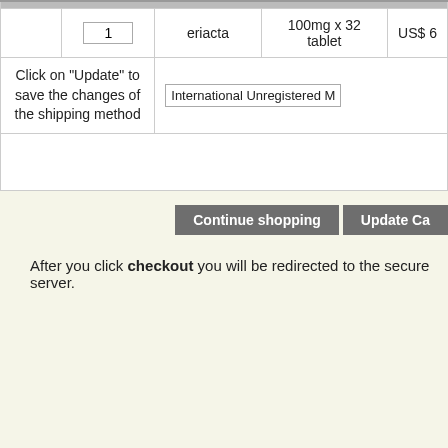|  | Qty | Product | Description | Price |
| --- | --- | --- | --- | --- |
|  | 1 | eriacta | 100mg x 32 tablet | US$ 6 |
| Click on "Update" to save the changes of the shipping method | International Unregistered M |  |  |  |
Continue shopping   Update Ca...
After you click checkout you will be redirected to the secure server.